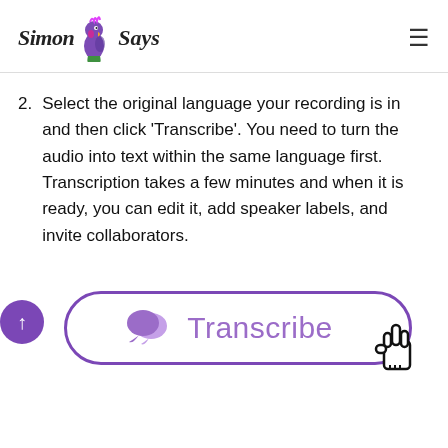Simon Says [logo with parrot]
2. Select the original language your recording is in and then click 'Transcribe'. You need to turn the audio into text within the same language first. Transcription takes a few minutes and when it is ready, you can edit it, add speaker labels, and invite collaborators.
[Figure (screenshot): A 'Transcribe' button with purple border, speech bubble icon, upload arrow circle on the left, and a pointer/hand cursor on the right.]